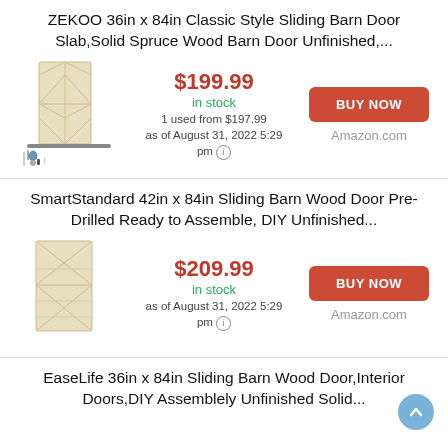ZEKOO 36in x 84in Classic Style Sliding Barn Door Slab,Solid Spruce Wood Barn Door Unfinished,...
$199.99 in stock 1 used from $197.99 as of August 31, 2022 5:29 pm
BUY NOW Amazon.com
SmartStandard 42in x 84in Sliding Barn Wood Door Pre-Drilled Ready to Assemble, DIY Unfinished...
$209.99 in stock as of August 31, 2022 5:29 pm
BUY NOW Amazon.com
EaseLife 36in x 84in Sliding Barn Wood Door,Interior Doors,DIY Assemblely Unfinished Solid...